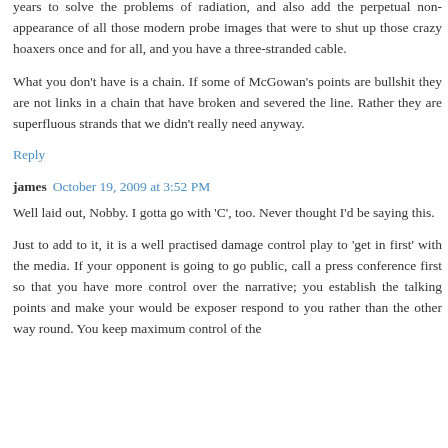years to solve the problems of radiation, and also add the perpetual non-appearance of all those modern probe images that were to shut up those crazy hoaxers once and for all, and you have a three-stranded cable.
What you don't have is a chain. If some of McGowan's points are bullshit they are not links in a chain that have broken and severed the line. Rather they are superfluous strands that we didn't really need anyway.
Reply
james  October 19, 2009 at 3:52 PM
Well laid out, Nobby. I gotta go with 'C', too. Never thought I'd be saying this.
Just to add to it, it is a well practised damage control play to 'get in first' with the media. If your opponent is going to go public, call a press conference first so that you have more control over the narrative; you establish the talking points and make your would be exposer respond to you rather than the other way round. You keep maximum control of the